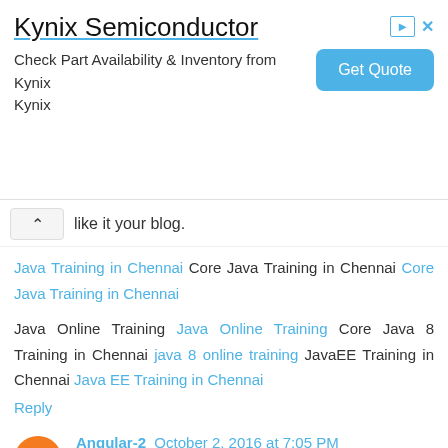[Figure (screenshot): Advertisement banner for Kynix Semiconductor with Get Quote button]
like it your blog.
Java Training in Chennai Core Java Training in Chennai Core Java Training in Chennai
Java Online Training Java Online Training Core Java 8 Training in Chennai java 8 online training JavaEE Training in Chennai Java EE Training in Chennai
Reply
Angular-2 October 2, 2016 at 7:05 PM
Enjoyed your approach to explaining how it works, hope to see more blog posts from you. thank you!
Angularjs Training in Chennai | Backbone.JS Training in Chennai | Bootstrap Training in Chennai | Node.js Training